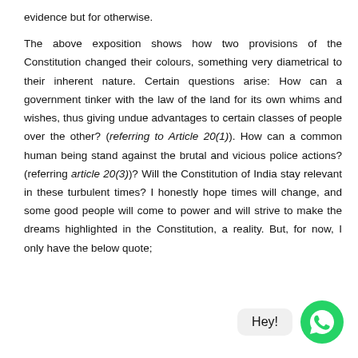evidence but for otherwise.

The above exposition shows how two provisions of the Constitution changed their colours, something very diametrical to their inherent nature. Certain questions arise: How can a government tinker with the law of the land for its own whims and wishes, thus giving undue advantages to certain classes of people over the other? (referring to Article 20(1)). How can a common human being stand against the brutal and vicious police actions? (referring article 20(3))? Will the Constitution of India stay relevant in these turbulent times? I honestly hope times will change, and some good people will come to power and will strive to make the dreams highlighted in the Constitution, a reality. But, for now, I only have the below quote;